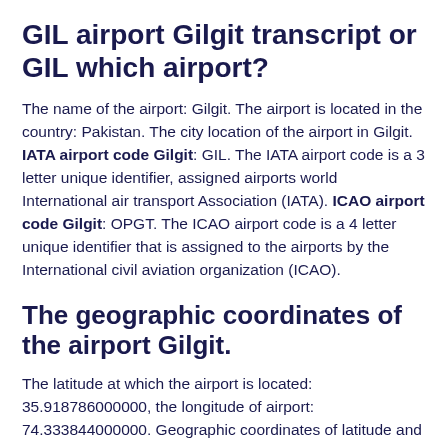GIL airport Gilgit transcript or GIL which airport?
The name of the airport: Gilgit. The airport is located in the country: Pakistan. The city location of the airport in Gilgit. IATA airport code Gilgit: GIL. The IATA airport code is a 3 letter unique identifier, assigned airports world International air transport Association (IATA). ICAO airport code Gilgit: OPGT. The ICAO airport code is a 4 letter unique identifier that is assigned to the airports by the International civil aviation organization (ICAO).
The geographic coordinates of the airport Gilgit.
The latitude at which the airport is located: 35.918786000000, the longitude of airport: 74.333844000000. Geographic coordinates of latitude and...